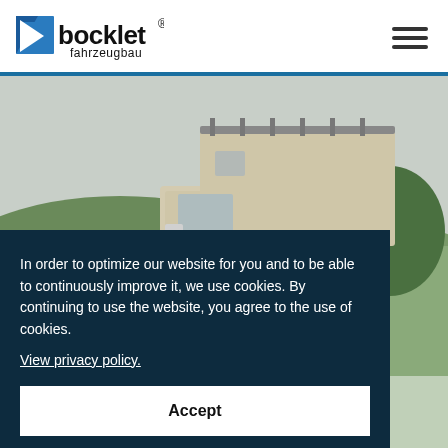[Figure (logo): Bocklet fahrzeugbau logo — blue square with white triangle on left, bold black text 'bocklet' with registered trademark symbol, 'fahrzeugbau' in smaller text below]
[Figure (other): Hamburger menu icon — three horizontal black lines]
[Figure (photo): Photo of a beige/tan box-body motorhome or horse truck on a green countryside background with overcast sky]
In order to optimize our website for you and to be able to continuously improve it, we use cookies. By continuing to use the website, you agree to the use of cookies.
View privacy policy.
Accept